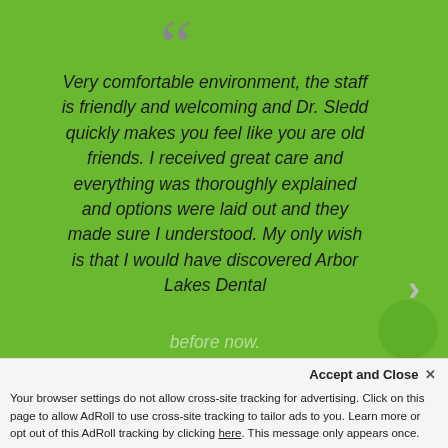Very comfortable environment, the staff is friendly and welcoming and Dr. Sledd quickly makes you feel like you are old friends. I received great care and everything was thoroughly explained and options were laid out and they made sure I understood. My only wish is that I would have discovered Arbor Lakes Dental
Accept and Close ✕ Your browser settings do not allow cross-site tracking for advertising. Click on this page to allow AdRoll to use cross-site tracking to tailor ads to you. Learn more or opt out of this AdRoll tracking by clicking here. This message only appears once.